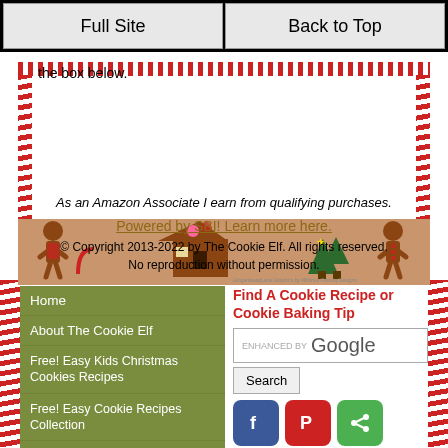Full Site | Back to Top
the box below.
As an Amazon Associate I earn from qualifying purchases.
Powered by SBI! Learn more here.
© Copyright 2013-2022 by The Cookie Elf. All rights reserved. No reproduction without permission.
[Figure (illustration): Gingerbread Lane decorative footer with gingerbread man figures, gingerbread house, candy canes, and Christmas trees on a brown background]
Home
About The Cookie Elf
Free! Easy Kids Christmas Cookies Recipes
Free! Easy Cookie Recipes Collection
The Cookie Elf File Newsletter
Cookie Recipe Index
Find A Cookie Recipe or Cookie Baking Tip
[Figure (screenshot): Google enhanced search bar with Search button]
[Figure (infographic): Social sharing buttons: Facebook (blue), Pinterest (red), Share (green), Print (light gray), Email (gray)]
Cookieology